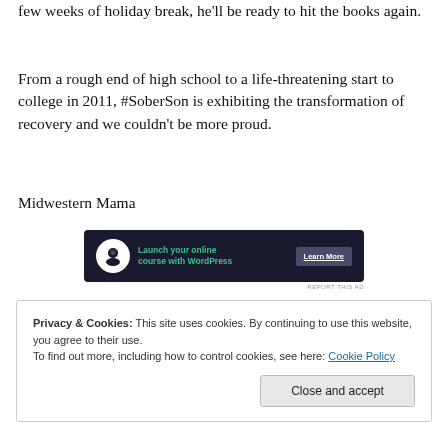few weeks of holiday break, he'll be ready to hit the books again.
From a rough end of high school to a life-threatening start to college in 2011, #SoberSon is exhibiting the transformation of recovery and we couldn't be more proud.
Midwestern Mama
[Figure (infographic): Advertisement banner: dark navy background with a tree/person icon in white circle, green text 'Launch your online course with WordPress', and a 'Learn More' button. Below: 'REPORT THIS AD' text.]
Privacy & Cookies: This site uses cookies. By continuing to use this website, you agree to their use.
To find out more, including how to control cookies, see here: Cookie Policy
[Close and accept button]